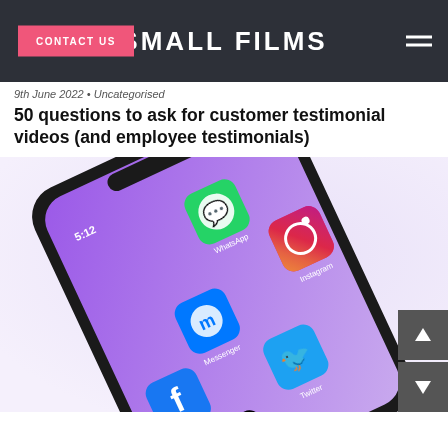SMALL FILMS
CONTACT US
9th June 2022 • Uncategorised
50 questions to ask for customer testimonial videos (and employee testimonials)
[Figure (photo): A smartphone at an angle displaying a purple home screen with social media app icons: WhatsApp, Instagram, Messenger, Facebook, Twitter, and TikTok]